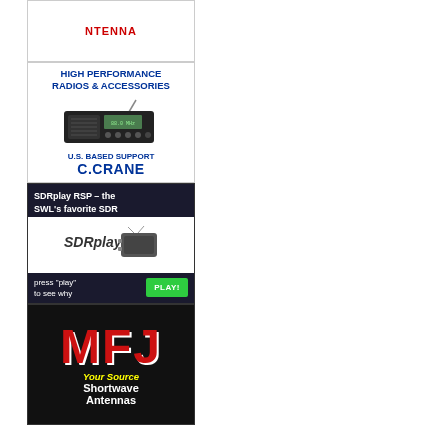[Figure (illustration): Partial antenna advertisement at top, showing red text 'NTENNA' clipped at top]
[Figure (illustration): C.Crane advertisement: High Performance Radios & Accessories with shortwave radio image and U.S. Based Support branding]
[Figure (illustration): SDRplay RSP advertisement: 'SDRplay RSP - the SWL's favorite SDR' with device image and Play button]
[Figure (illustration): MFJ advertisement: Red MFJ logo text on black background, 'Your Source Shortwave Antennas']